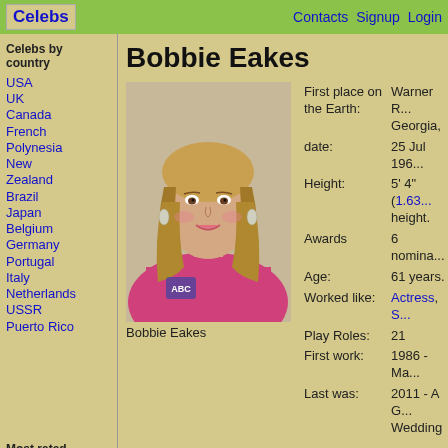Celebs   Contacts Signup Login
Bobbie Eakes
[Figure (photo): Photo of Bobbie Eakes, a woman with long blonde highlighted hair wearing a pink strapless dress, smiling at the camera]
Bobbie Eakes
First place on the Earth: Warner R... Georgia, date: 25 Jul 196... Height: 5' 4" (1.63... height. Awards 6 nomina... Age: 61 years. Worked like: Actress, S... Play Roles: 21 First work: 1986 - Ma... Last was: 2011 - A G... Wedding
Celebs by country
USA
UK
Canada
French Polynesia
New Zealand
Brazil
Japan
Belgium
Germany
Portugal
Italy
Netherlands
USSR
Puerto Rico
Most rated